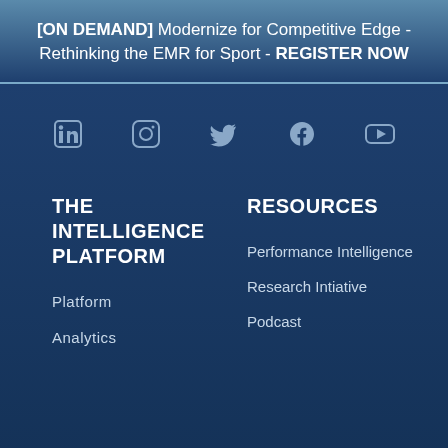[ON DEMAND] Modernize for Competitive Edge - Rethinking the EMR for Sport - REGISTER NOW
[Figure (infographic): Social media icons row: LinkedIn, Instagram, Twitter, Facebook, YouTube]
THE INTELLIGENCE PLATFORM
Platform
Analytics
RESOURCES
Performance Intelligence
Research Intiative
Podcast
Your choice regarding cookies on this site
We use cookies to optimise site functionality and give you the best possible experience.
Accept | Cookie Preferences | ×